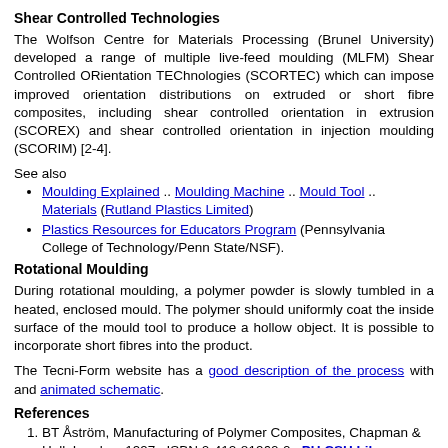Shear Controlled Technologies
The Wolfson Centre for Materials Processing (Brunel University) developed a range of multiple live-feed moulding (MLFM) Shear Controlled ORientation TEChnologies (SCORTEC) which can impose improved orientation distributions on extruded or short fibre composites, including shear controlled orientation in extrusion (SCOREX) and shear controlled orientation in injection moulding (SCORIM) [2-4].
See also
Moulding Explained .. Moulding Machine .. Mould Tool .. Materials (Rutland Plastics Limited)
Plastics Resources for Educators Program (Pennsylvania College of Technology/Penn State/NSF).
Rotational Moulding
During rotational moulding, a polymer powder is slowly tumbled in a heated, enclosed mould. The polymer should uniformly coat the inside surface of the mould tool to produce a hollow object. It is possible to incorporate short fibres into the product.
The Tecni-Form website has a good description of the process with and animated schematic.
References
1. BT Åström, Manufacturing of Polymer Composites, Chapman & Hall, London, 1997.  ISBN 0-412-81960-0.  PU CSH Library.